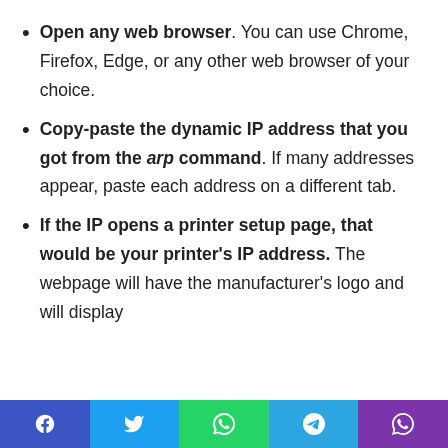Open any web browser. You can use Chrome, Firefox, Edge, or any other web browser of your choice.
Copy-paste the dynamic IP address that you got from the arp command. If many addresses appear, paste each address on a different tab.
If the IP opens a printer setup page, that would be your printer's IP address. The webpage will have the manufacturer's logo and will display